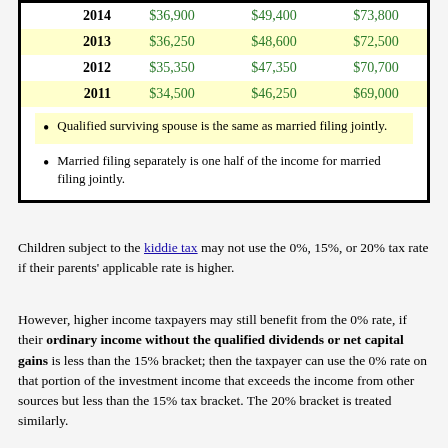| Year | Single | Head of Household | Married Filing Jointly |
| --- | --- | --- | --- |
| 2014 | $36,900 | $49,400 | $73,800 |
| 2013 | $36,250 | $48,600 | $72,500 |
| 2012 | $35,350 | $47,350 | $70,700 |
| 2011 | $34,500 | $46,250 | $69,000 |
Qualified surviving spouse is the same as married filing jointly.
Married filing separately is one half of the income for married filing jointly.
Children subject to the kiddie tax may not use the 0%, 15%, or 20% tax rate if their parents' applicable rate is higher.
However, higher income taxpayers may still benefit from the 0% rate, if their ordinary income without the qualified dividends or net capital gains is less than the 15% bracket; then the taxpayer can use the 0% rate on that portion of the investment income that exceeds the income from other sources but less than the 15% tax bracket. The 20% bracket is treated similarly.